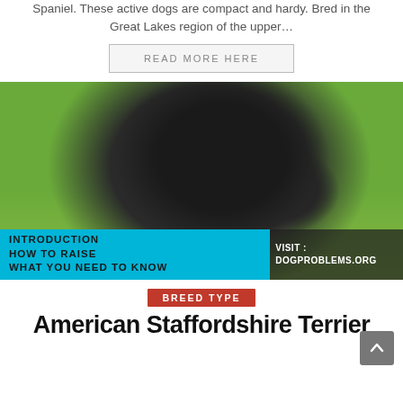Spaniel. These active dogs are compact and hardy. Bred in the Great Lakes region of the upper…
READ MORE HERE
[Figure (photo): A black American Staffordshire Terrier dog lying on grass in a park, facing right, with mouth open and tongue out, wearing a chain collar. Overlaid banner at bottom reads 'INTRODUCTION HOW TO RAISE WHAT YOU NEED TO KNOW' on cyan background, and 'VISIT: DOGPROBLEMS.ORG' on dark background.]
BREED TYPE
American Staffordshire Terrier